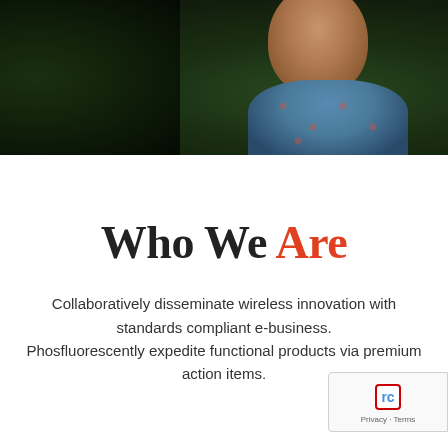[Figure (photo): Dark photograph showing a person (partially visible) wearing a patterned blue/red shirt, with dark foliage in the background. The upper portion shows a dark, moody scene.]
Who We Are
Collaboratively disseminate wireless innovation with standards compliant e-business. Phosfluorescently expedite functional products via premium action items.